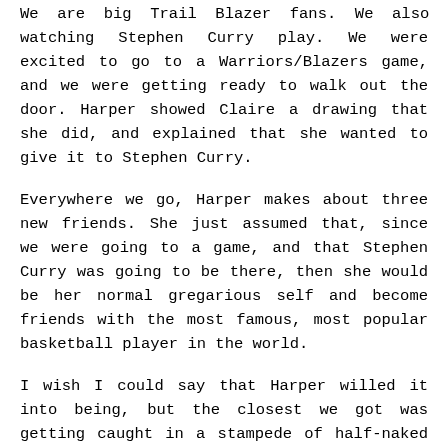We are big Trail Blazer fans. We also love watching Stephen Curry play. We were excited to go to a Warriors/Blazers game, and we were getting ready to walk out the door. Harper showed Claire a drawing that she did, and explained that she wanted to give it to Stephen Curry.
Everywhere we go, Harper makes about three new friends. She just assumed that, since we were going to a game, and that Stephen Curry was going to be there, then she would be her normal gregarious self and become friends with the most famous, most popular basketball player in the world.
I wish I could say that Harper willed it into being, but the closest we got was getting caught in a stampede of half-naked BlazerDancers.
Permalink | Comment (0)
HARDY HAR HAR-PER